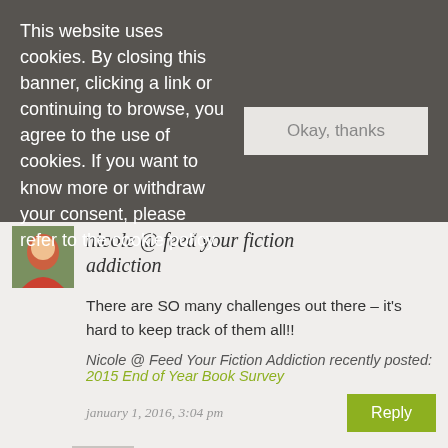This website uses cookies. By closing this banner, clicking a link or continuing to browse, you agree to the use of cookies. If you want to know more or withdraw your consent, please refer to the cookie policy.
Okay, thanks
nicole @ feed your fiction addiction
There are SO many challenges out there – it's hard to keep track of them all!!
Nicole @ Feed Your Fiction Addiction recently posted: 2015 End of Year Book Survey
january 1, 2016, 3:04 pm
Reply
joann downie
Well I did do a post and apparently a few people thought that i signed up for all